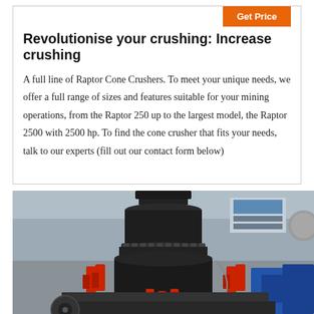Revolutionise your crushing: Increase crushing
A full line of Raptor Cone Crushers. To meet your unique needs, we offer a full range of sizes and features suitable for your mining operations, from the Raptor 250 up to the largest model, the Raptor 2500 with 2500 hp. To find the cone crusher that fits your needs, talk to our experts (fill out our contact form below)
[Figure (photo): Industrial cone crusher machine (Raptor Cone Crusher) photographed inside a factory/warehouse. The machine is black with red hydraulic cylinders at the base, shown from a front-low angle. Blue machinery visible in background.]